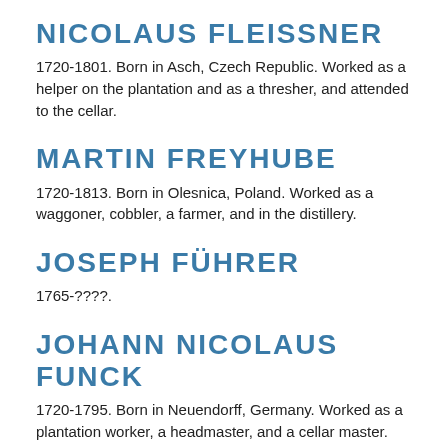NICOLAUS FLEISSNER
1720-1801. Born in Asch, Czech Republic. Worked as a helper on the plantation and as a thresher, and attended to the cellar.
MARTIN FREYHUBE
1720-1813. Born in Olesnica, Poland. Worked as a waggoner, cobbler, a farmer, and in the distillery.
JOSEPH FÜHRER
1765-????.
JOHANN NICOLAUS FUNCK
1720-1795. Born in Neuendorff, Germany. Worked as a plantation worker, a headmaster, and a cellar master.